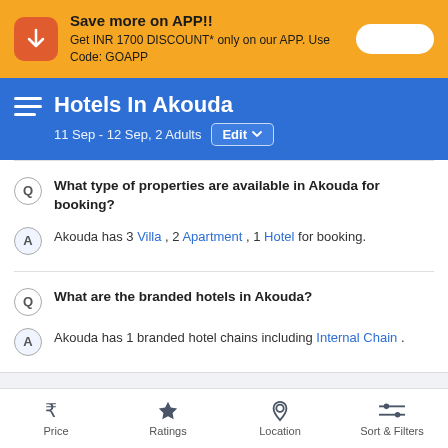[Figure (screenshot): Orange promotional banner with download icon, text 'Save more on APP!!' and toggle button]
Hotels In Akouda
11 Sep - 12 Sep, 2 Adults  Edit
Q  What type of properties are available in Akouda for booking?
A  Akouda has 3 Villa , 2 Apartment , 1 Hotel for booking.
Q  What are the branded hotels in Akouda?
A  Akouda has 1 branded hotel chains including Internal Chain .
Popular Locations for Akouda Hotels
Price  Ratings  Location  Sort & Filters